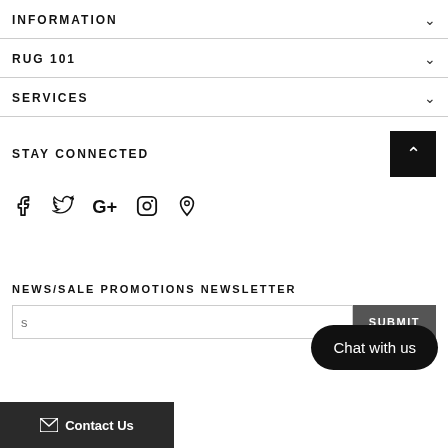INFORMATION
RUG 101
SERVICES
STAY CONNECTED
[Figure (other): Social media icons: Facebook, Twitter, Google+, Instagram, Pinterest]
NEWS/SALE PROMOTIONS NEWSLETTER
SUBMIT
Chat with us
Contact Us